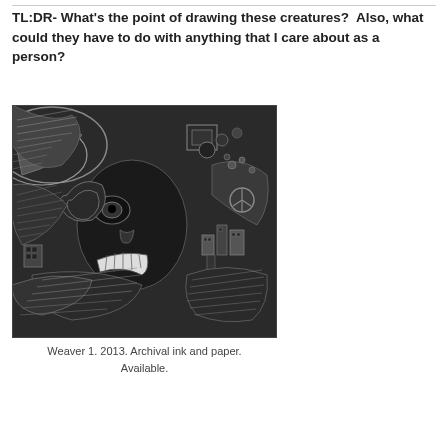TL:DR- What's the point of drawing these creatures?  Also, what could they have to do with anything that I care about as a person?
[Figure (illustration): Black and white detailed ink drawing titled 'Weaver 1' showing an abstract surreal creature with intricate cross-hatching, flowing organic forms, geometric shapes, and architectural elements, rendered in archival ink on paper.]
Weaver 1. 2013. Archival ink and paper. Available.